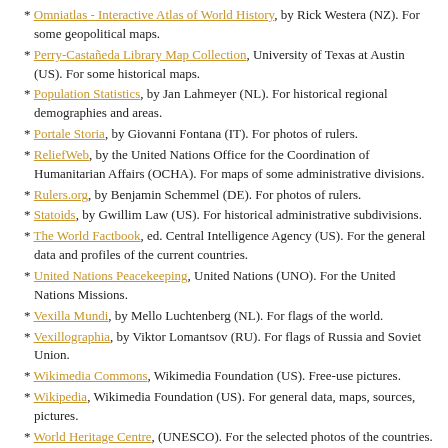Omniatlas - Interactive Atlas of World History, by Rick Westera (NZ). For some geopolitical maps.
Perry-Castañeda Library Map Collection, University of Texas at Austin (US). For some historical maps.
Population Statistics, by Jan Lahmeyer (NL). For historical regional demographies and areas.
Portale Storia, by Giovanni Fontana (IT). For photos of rulers.
ReliefWeb, by the United Nations Office for the Coordination of Humanitarian Affairs (OCHA). For maps of some administrative divisions.
Rulers.org, by Benjamin Schemmel (DE). For photos of rulers.
Statoids, by Gwillim Law (US). For historical administrative subdivisions.
The World Factbook, ed. Central Intelligence Agency (US). For the general data and profiles of the current countries.
United Nations Peacekeeping, United Nations (UNO). For the United Nations Missions.
Vexilla Mundi, by Mello Luchtenberg (NL). For flags of the world.
Vexillographia, by Viktor Lomantsov (RU). For flags of Russia and Soviet Union.
Wikimedia Commons, Wikimedia Foundation (US). Free-use pictures.
Wikipedia, Wikimedia Foundation (US). For general data, maps, sources, pictures.
World Heritage Centre, (UNESCO). For the selected photos of the countries.
World History at KMLA, by Alexander Ganse (DE). For historical maps and links by country.
World Statesmen, by Ben Cahoon (US). Main source for the historical polities and their rulers.